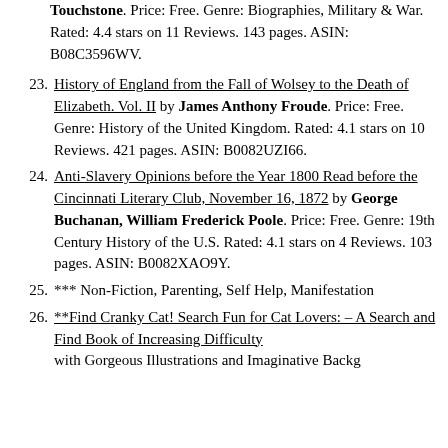Touchstone. Price: Free. Genre: Biographies, Military & War. Rated: 4.4 stars on 11 Reviews. 143 pages. ASIN: B08C3596WV.
23. History of England from the Fall of Wolsey to the Death of Elizabeth. Vol. II by James Anthony Froude. Price: Free. Genre: History of the United Kingdom. Rated: 4.1 stars on 10 Reviews. 421 pages. ASIN: B0082UZI66.
24. Anti-Slavery Opinions before the Year 1800 Read before the Cincinnati Literary Club, November 16, 1872 by George Buchanan, William Frederick Poole. Price: Free. Genre: 19th Century History of the U.S. Rated: 4.1 stars on 4 Reviews. 103 pages. ASIN: B0082XAO9Y.
25. *** Non-Fiction, Parenting, Self Help, Manifestation
26. **Find Cranky Cat! Search Fun for Cat Lovers: – A Search and Find Book of Increasing Difficulty with Gorgeous Illustrations and Imaginative Backd...